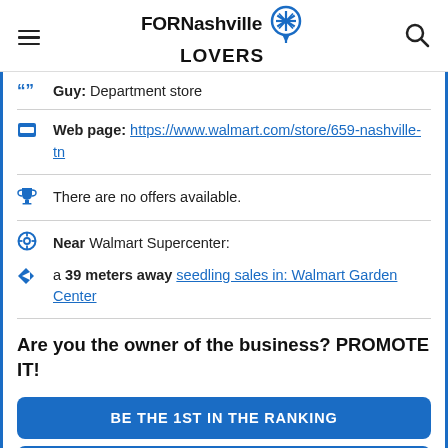FORNashville LOVERS
Guy: Department store
Web page: https://www.walmart.com/store/659-nashville-tn
There are no offers available.
Near Walmart Supercenter:
a 39 meters away seedling sales in: Walmart Garden Center
Are you the owner of the business? PROMOTE IT!
BE THE 1ST IN THE RANKING
EXCLUSIVE PAGE